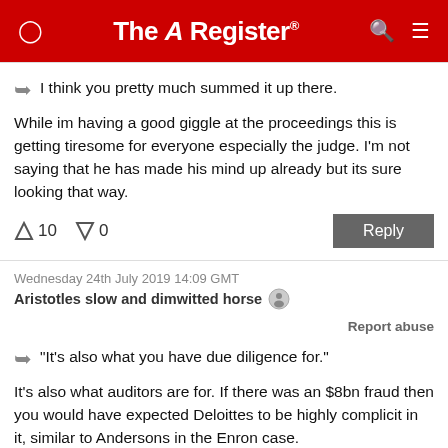The Register
I think you pretty much summed it up there.
While im having a good giggle at the proceedings this is getting tiresome for everyone especially the judge. I'm not saying that he has made his mind up already but its sure looking that way.
↑10  ↓0   Reply
Wednesday 24th July 2019 14:09 GMT
Aristotles slow and dimwitted horse
Report abuse
"It's also what you have due diligence for."
It's also what auditors are for. If there was an $8bn fraud then you would have expected Deloittes to be highly complicit in it, similar to Andersons in the Enron case.